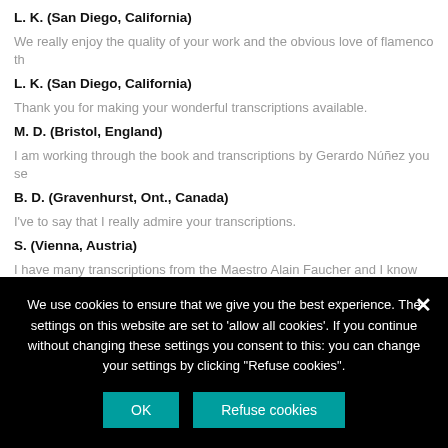L. K. (San Diego, California)
We really enjoy the quality of your work and the obvious love of flamenco th…
L. K. (San Diego, California)
Thank you for making your wonderful transcriptions available.
M. D. (Bristol, England)
I am working through the book and transcriptions by Gerardo Núñez you se…
B. D. (Gravenhurst, Ont., Canada)
I've to say that I really admire your transcriptions.
S. (Vienna, Austria)
I have many transcriptions from the Maestro Alain Faucher and I know the h…
M. C. (Italy)
We use cookies to ensure that we give you the best experience. The settings on this website are set to 'allow all cookies'. If you continue without changing these settings you consent to this: you can change your settings by clicking "Refuse cookies".